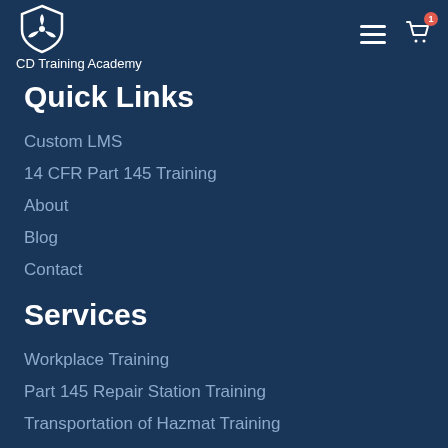[Figure (logo): CD Training Academy logo with shield and propeller icon, white on dark navy background]
Quick Links
Custom LMS
14 CFR Part 145 Training
About
Blog
Contact
Services
Workplace Training
Part 145 Repair Station Training
Transportation of Hazmat Training
Training Consulting Services